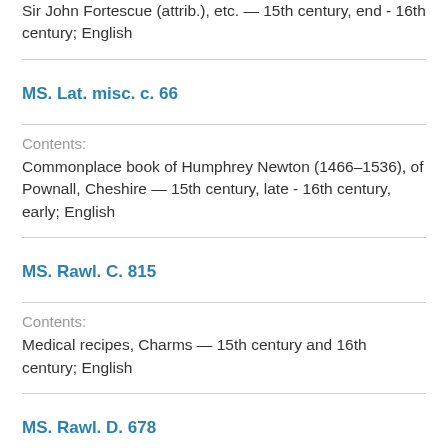Sir John Fortescue (attrib.), etc. — 15th century, end - 16th century; English
MS. Lat. misc. c. 66
Contents:
Commonplace book of Humphrey Newton (1466–1536), of Pownall, Cheshire — 15th century, late - 16th century, early; English
MS. Rawl. C. 815
Contents:
Medical recipes, Charms — 15th century and 16th century; English
MS. Rawl. D. 678
Contents:
Medical collection — 15th century - 17th century...